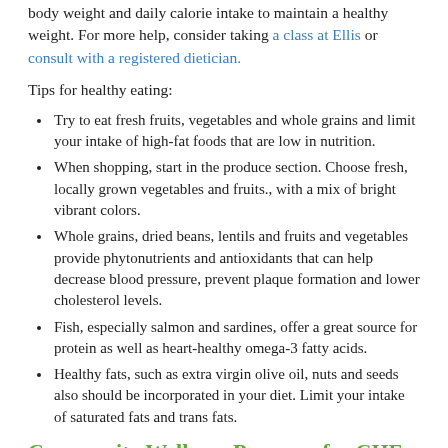body weight and daily calorie intake to maintain a healthy weight. For more help, consider taking a class at Ellis or consult with a registered dietician.
Tips for healthy eating:
Try to eat fresh fruits, vegetables and whole grains and limit your intake of high-fat foods that are low in nutrition.
When shopping, start in the produce section. Choose fresh, locally grown vegetables and fruits., with a mix of bright vibrant colors.
Whole grains, dried beans, lentils and fruits and vegetables provide phytonutrients and antioxidants that can help decrease blood pressure, prevent plaque formation and lower cholesterol levels.
Fish, especially salmon and sardines, offer a great source for protein as well as heart-healthy omega-3 fatty acids.
Healthy fats, such as extra virgin olive oil, nuts and seeds also should be incorporated in your diet. Limit your intake of saturated fats and trans fats.
Community Wellness Program for CHF patients
Ellis Medicine's outpatient program helps heart disease patients, especially those with congestive heart failure (CHF), better manage their health and prevent their condition from